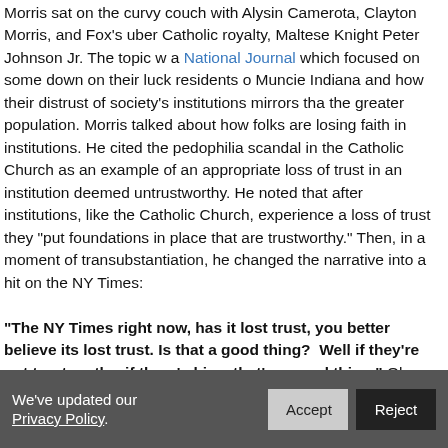Morris sat on the curvy couch with Alysin Camerota, Clayton Morris, and Fox's uber Catholic royalty, Maltese Knight Peter Johnson Jr. The topic was a National Journal which focused on some down on their luck residents of Muncie Indiana and how their distrust of society's institutions mirrors that of the greater population. Morris talked about how folks are losing faith in institutions. He cited the pedophilia scandal in the Catholic Church as an example of an appropriate loss of trust in an institution deemed untrustworthy. He noted that after institutions, like the Catholic Church, experience a loss of trust they "put foundations in place that are trustworthy." Then, in a moment of transubstantiation, he changed the narrative into a hit on the NY Times:
"The NY Times right now, has it lost trust, you better believe its lost trust. Is that a good thing?  Well if they're not trustworthy, if there's bias, that's a good thing." Okaaay. The topic is loss of faith in society's institutions. WTF does the NY Times have to do with this. And where is the cute cleric getting that gem from? It's not in the article. But agitprop was delivered on possible programming for Morris on The NY Ti...
We've updated our Privacy Policy.